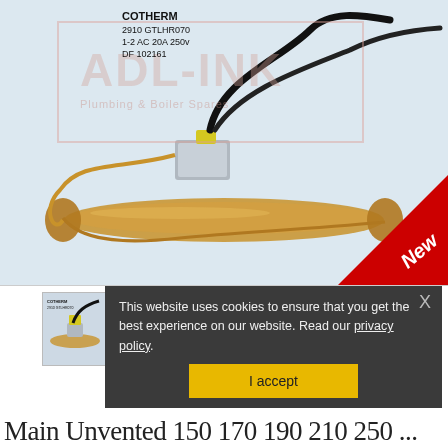[Figure (photo): Product photo of a Cotherm thermostat (model GTLHR070, 2910, 1-2 AC 20A 250v, DF 102161) with copper capillary tube and black wires, on white background. ADL-INK watermark overlay with text 'Plumbing & Boiler Spares'. Red 'New' badge in bottom-right corner.]
[Figure (photo): Smaller thumbnail of the same Cotherm thermostat product.]
This website uses cookies to ensure that you get the best experience on our website. Read our privacy policy.
I accept
Main Unvented 150 170 190 210 250 ...